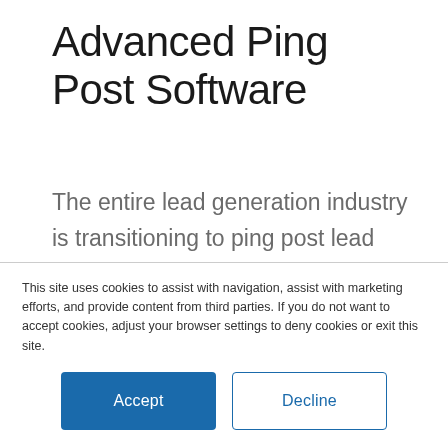Advanced Ping Post Software
The entire lead generation industry is transitioning to ping post lead distribution due to its benefits to buyers, sellers and the leads themselves. However, transitioning your lead company to ping post
This site uses cookies to assist with navigation, assist with marketing efforts, and provide content from third parties. If you do not want to accept cookies, adjust your browser settings to deny cookies or exit this site.